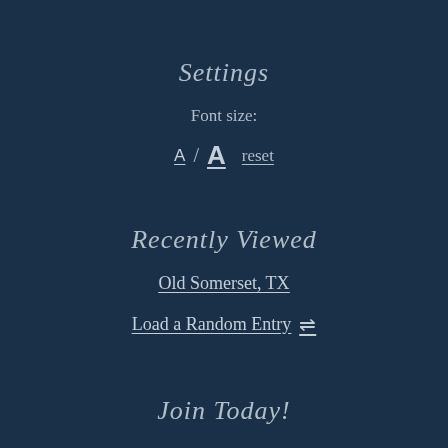Settings
Font size:
A / A  reset
Recently Viewed
Old Somerset, TX
Load a Random Entry
Join Today!
New Members